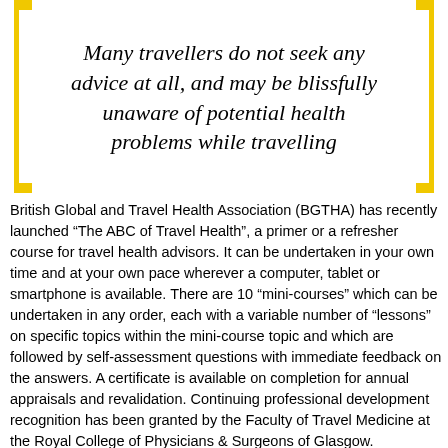[Figure (other): Pull quote with yellow bracket decorations on left and right sides. Text reads: 'Many travellers do not seek any advice at all, and may be blissfully unaware of potential health problems while travelling']
British Global and Travel Health Association (BGTHA) has recently launched “The ABC of Travel Health”, a primer or a refresher course for travel health advisors. It can be undertaken in your own time and at your own pace wherever a computer, tablet or smartphone is available. There are 10 “mini-courses” which can be undertaken in any order, each with a variable number of „lessons” on specific topics within the mini-course topic and which are followed by self-assessment questions with immediate feedback on the answers. A certificate is available on completion for annual appraisals and revalidation. Continuing professional development recognition has been granted by the Faculty of Travel Medicine at the Royal College of Physicians & Surgeons of Glasgow.
The course is prepared and maintained by the BGTHA. The editors are Eric Walker (Professor) and Mike Townend (Senior Lecturer) in Travel Medicine and Global Health at the University of Glasgow and